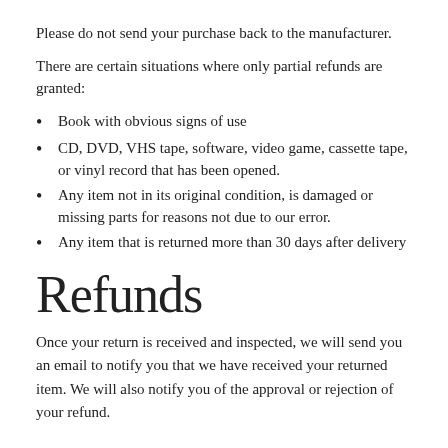Please do not send your purchase back to the manufacturer.
There are certain situations where only partial refunds are granted:
Book with obvious signs of use
CD, DVD, VHS tape, software, video game, cassette tape, or vinyl record that has been opened.
Any item not in its original condition, is damaged or missing parts for reasons not due to our error.
Any item that is returned more than 30 days after delivery
Refunds
Once your return is received and inspected, we will send you an email to notify you that we have received your returned item. We will also notify you of the approval or rejection of your refund.